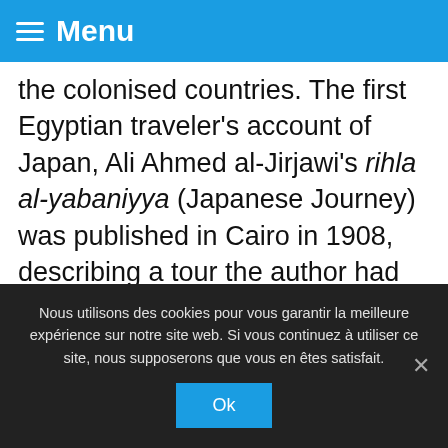Menu
the colonised countries. The first Egyptian traveler's account of Japan, Ali Ahmed al-Jirjawi's rihla al-yabaniyya (Japanese Journey) was published in Cairo in 1908, describing a tour the author had made two years before. Tayara also mentions two other works by Ahmed Fadli that focus on Japan's successful modernisation, published in Cairo in 1909 and 1911, respectively: al-nafs al-yabaniyya
Nous utilisons des cookies pour vous garantir la meilleure expérience sur notre site web. Si vous continuez à utiliser ce site, nous supposerons que vous en êtes satisfait.